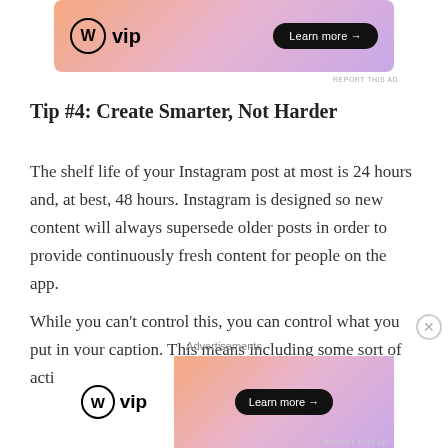[Figure (advertisement): WordPress VIP banner ad with gradient background (orange to purple), WP VIP logo on left, 'Learn more →' black pill button on right]
REPORT THIS AD
Tip #4: Create Smarter, Not Harder
The shelf life of your Instagram post at most is 24 hours and, at best, 48 hours. Instagram is designed so new content will always supersede older posts in order to provide continuously fresh content for people on the app.
While you can't control this, you can control what you put in your caption. This means including some sort of actionable step that allows your audience to take a
Advertisements
[Figure (advertisement): WordPress VIP split ad — left side white with WP VIP logo, right side gradient (orange to purple) with 'Learn more →' black pill button]